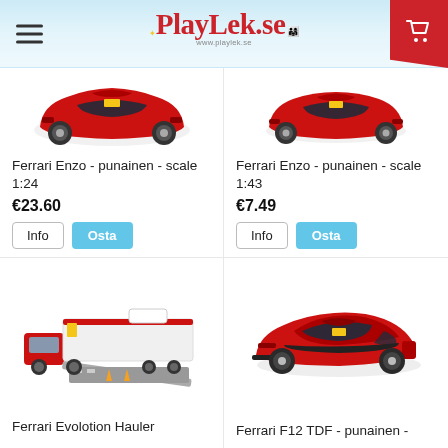PlayLek.se
[Figure (photo): Red Ferrari Enzo model car, scale 1:24, top portion visible]
Ferrari Enzo - punainen - scale 1:24
€23.60
[Figure (photo): Red Ferrari Enzo model car, scale 1:43, top portion visible]
Ferrari Enzo - punainen - scale 1:43
€7.49
[Figure (photo): Ferrari Evolution Hauler toy truck with race track play set]
Ferrari Evolotion Hauler
[Figure (photo): Red Ferrari F12 TDF model car]
Ferrari F12 TDF - punainen -